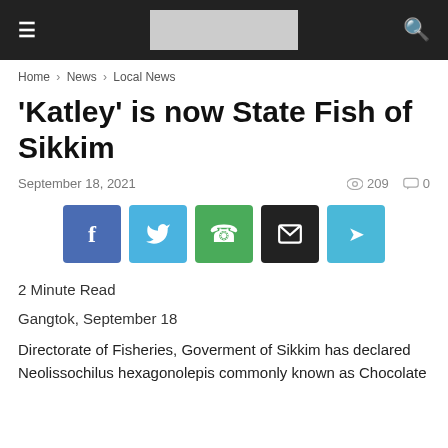≡  [logo]  🔍
Home › News › Local News
'Katley' is now State Fish of Sikkim
September 18, 2021   209   0
[Figure (other): Social share buttons: Facebook, Twitter, WhatsApp, Email, Telegram]
2 Minute Read
Gangtok, September 18
Directorate of Fisheries, Goverment of Sikkim has declared Neolissochilus hexagonolepis commonly known as Chocolate